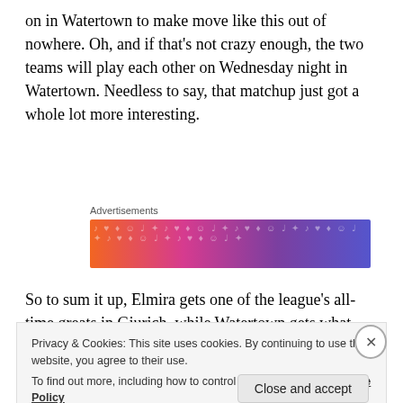on in Watertown to make move like this out of nowhere. Oh, and if that's not crazy enough, the two teams will play each other on Wednesday night in Watertown. Needless to say, that matchup just got a whole lot more interesting.
[Figure (other): Colorful advertisement banner with orange-to-purple gradient background and decorative music/emoji icons]
So to sum it up, Elmira gets one of the league's all-time greats in Gjurich, while Watertown gets what could be
Privacy & Cookies: This site uses cookies. By continuing to use this website, you agree to their use.
To find out more, including how to control cookies, see here: Cookie Policy